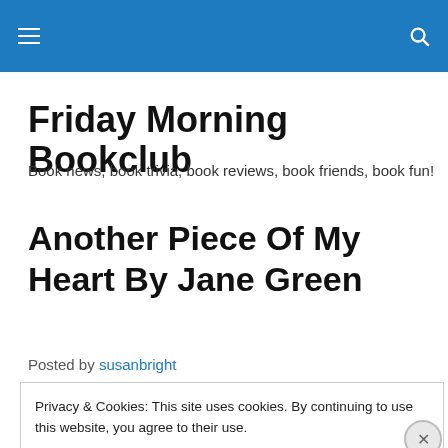Friday Morning Bookclub navigation bar
Friday Morning Bookclub
Book news, book trivia, book reviews, book friends, book fun!
Another Piece Of My Heart By Jane Green
Posted by susanbright
Privacy & Cookies: This site uses cookies. By continuing to use this website, you agree to their use.
To find out more, including how to control cookies, see here: Cookie Policy
Close and accept